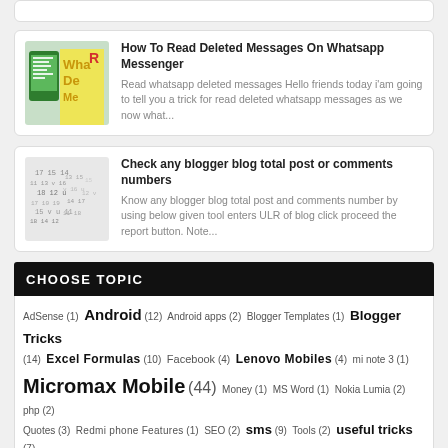[Figure (screenshot): Partial top card, cropped]
[Figure (screenshot): WhatsApp messenger thumbnail image]
How To Read Deleted Messages On Whatsapp Messenger
Read whatsapp deleted messages Hello friends today i'am going to tell you a trick for read deleted whatsapp messages as we now what...
[Figure (screenshot): Blogger blog thumbnail image with numbers]
Check any blogger blog total post or comments numbers
Know any blogger blog total post and comments number by using below given tool enters ULR of blog click proceed the report button. Note...
CHOOSE TOPIC
AdSense (1) Android (12) Android apps (2) Blogger Templates (1) Blogger Tricks (14) Excel Formulas (10) Facebook (4) Lenovo Mobiles (4) mi note 3 (1) Micromax Mobile (44) Money (1) MS Word (1) Nokia Lumia (2) php (2) Quotes (3) Redmi phone Features (1) SEO (2) sms (9) Tools (2) useful tricks (7)